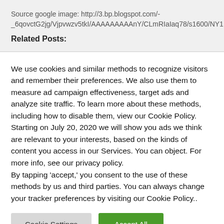Source google image: http://3.bp.blogspot.com/-_6qovctG2jg/Vjpvwzv5tkI/AAAAAAAAAnY/CLmRIaIaq78/s1600/NY1.jpg
Related Posts:
We use cookies and similar methods to recognize visitors and remember their preferences. We also use them to measure ad campaign effectiveness, target ads and analyze site traffic. To learn more about these methods, including how to disable them, view our Cookie Policy. Starting on July 20, 2020 we will show you ads we think are relevant to your interests, based on the kinds of content you access in our Services. You can object. For more info, see our privacy policy.
By tapping 'accept,' you consent to the use of these methods by us and third parties. You can always change your tracker preferences by visiting our Cookie Policy..
Cookie Settings | Accept All